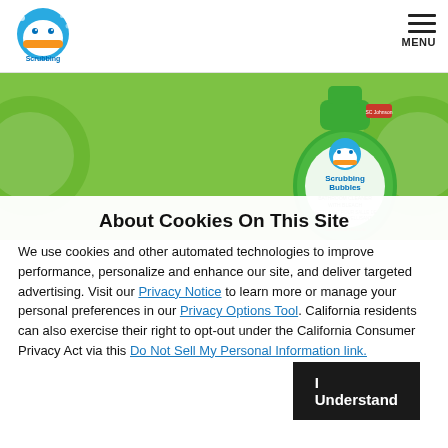[Figure (logo): Scrubbing Bubbles logo — cartoon bubble character with Scrubbing Bubbles text]
[Figure (screenshot): Navigation menu icon with three horizontal lines and MENU label]
[Figure (photo): Green banner with Scrubbing Bubbles Bathroom Cleaner with Bleach product bottle, green background with white bubble character]
About Cookies On This Site
We use cookies and other automated technologies to improve performance, personalize and enhance our site, and deliver targeted advertising. Visit our Privacy Notice to learn more or manage your personal preferences in our Privacy Options Tool. California residents can also exercise their right to opt-out under the California Consumer Privacy Act via this Do Not Sell My Personal Information link.
I Understand